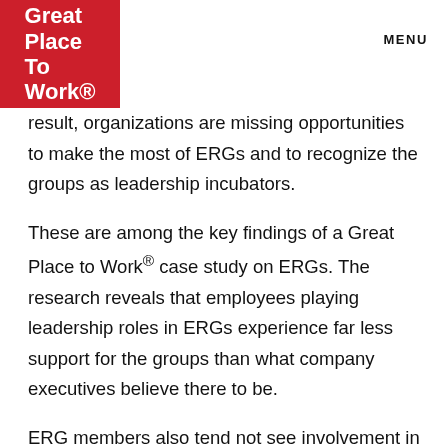Great Place To Work. MENU
result, organizations are missing opportunities to make the most of ERGs and to recognize the groups as leadership incubators.
These are among the key findings of a Great Place to Work® case study on ERGs. The research reveals that employees playing leadership roles in ERGs experience far less support for the groups than what company executives believe there to be.
ERG members also tend not see involvement in the groups as helpful to career progress, while business leaders assume that it will be. And when it comes to feeling a sense of belonging at work, there's a significant divide between ERG leaders and their "executive sponsors" —